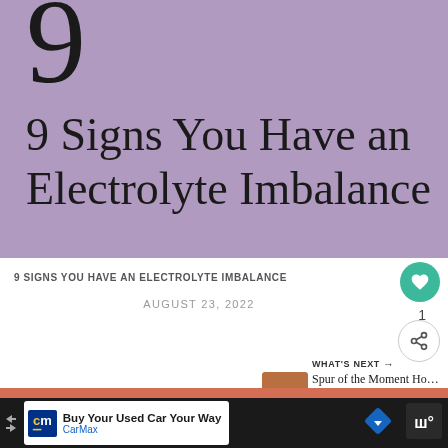[Figure (illustration): Purple/mauve background hero block with a large partially visible number '9' at top and article title text below]
9 Signs You Have an Electrolyte Imbalance
9 SIGNS YOU HAVE AN ELECTROLYTE IMBALANCE
AUGUST 23, 2022
Life doesn't get better
Buy Your Used Car Your Way
CarMax